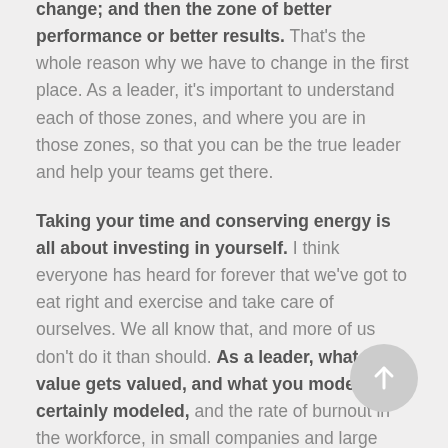change; and then the zone of better performance or better results. That's the whole reason why we have to change in the first place. As a leader, it's important to understand each of those zones, and where you are in those zones, so that you can be the true leader and help your teams get there.
Taking your time and conserving energy is all about investing in yourself. I think everyone has heard for forever that we've got to eat right and exercise and take care of ourselves. We all know that, and more of us don't do it than should. As a leader, what you value gets valued, and what you model is certainly modeled, and the rate of burnout in the workforce, in small companies and large companies, is